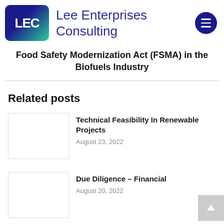[Figure (logo): Lee Enterprises Consulting logo with LEC initials on gradient blue-green rounded square, company name in blue, and dark blue circular menu button]
Food Safety Modernization Act (FSMA) in the Biofuels Industry
Related posts
[Figure (photo): Thumbnail image placeholder for Technical Feasibility In Renewable Projects post]
Technical Feasibility In Renewable Projects
August 23, 2022
[Figure (photo): Thumbnail image placeholder for Due Diligence – Financial post]
Due Diligence – Financial
August 20, 2022